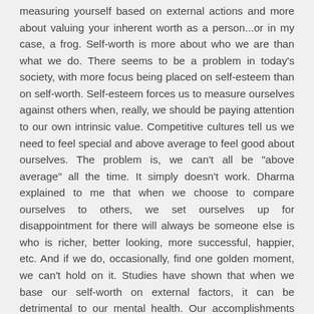measuring yourself based on external actions and more about valuing your inherent worth as a person...or in my case, a frog. Self-worth is more about who we are than what we do. There seems to be a problem in today's society, with more focus being placed on self-esteem than on self-worth. Self-esteem forces us to measure ourselves against others when, really, we should be paying attention to our own intrinsic value. Competitive cultures tell us we need to feel special and above average to feel good about ourselves. The problem is, we can't all be "above average" all the time. It simply doesn't work. Dharma explained to me that when we choose to compare ourselves to others, we set ourselves up for disappointment for there will always be someone else is who is richer, better looking, more successful, happier, etc. And if we do, occasionally, find one golden moment, we can't hold on it. Studies have shown that when we base our self-worth on external factors, it can be detrimental to our mental health. Our accomplishments are important to acknowledge,as we build our sense of self, says Dharma, but we must look at, and